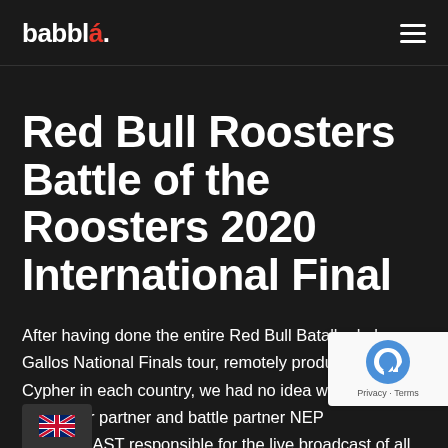babbla.
Red Bull Roosters Battle of the Roosters 2020 International Final
After having done the entire Red Bull Batalla de los Gallos National Finals tour, remotely producing the Cypher in each country, we had no idea what we were in for. Our partner and battle partner NEP BROADCAST responsible for the live broadcast of all Red Bull Ba d allos events, and our dance partner for several